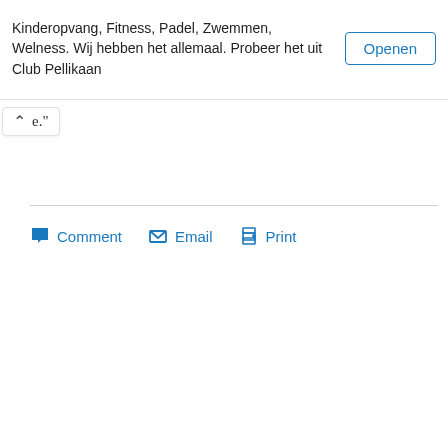Kinderopvang, Fitness, Padel, Zwemmen, Welness. Wij hebben het allemaal. Probeer het uit Club Pellikaan
Openen
e."
Comment  Email  Print